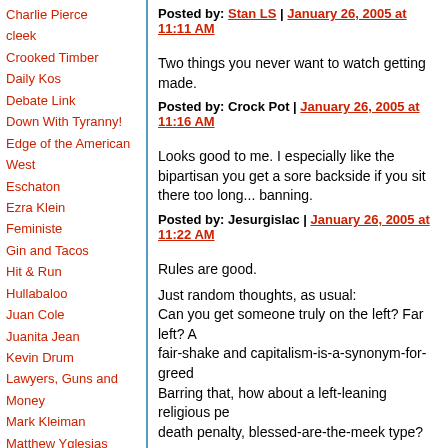Charlie Pierce
cleek
Crooked Timber
Daily Kos
Debate Link
Down With Tyranny!
Edge of the American West
Eschaton
Ezra Klein
Feministe
Gin and Tacos
Hit & Run
Hullabaloo
Juan Cole
Juanita Jean
Kevin Drum
Lawyers, Guns and Money
Mark Kleiman
Matthew Yglesias
Maxspeak
Mercury Rising
Michael Cain's Random
Posted by: Stan LS | January 26, 2005 at 11:11 AM
Two things you never want to watch getting made.
Posted by: Crock Pot | January 26, 2005 at 11:16 AM
Looks good to me. I especially like the bipartisan you get a sore backside if you sit there too long... banning.
Posted by: Jesurgislac | January 26, 2005 at 11:22 AM
Rules are good.
Just random thoughts, as usual:
Can you get someone truly on the left? Far left? A fair-shake and capitalism-is-a-synonym-for-greed.
Barring that, how about a left-leaning religious pe death penalty, blessed-are-the-meek type?
Posted by: votermom | January 26, 2005 at 11:25 AM